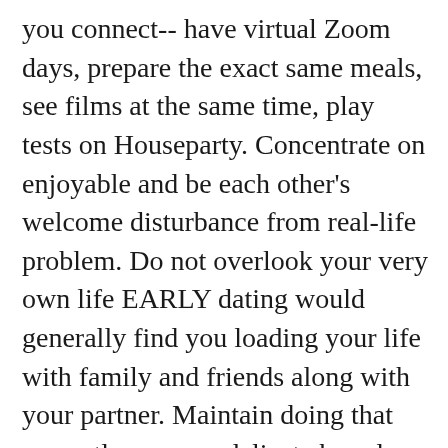you connect-- have virtual Zoom days, prepare the exact same meals, see films at the same time, play tests on Houseparty. Concentrate on enjoyable and be each other's welcome disturbance from real-life problem. Do not overlook your very own life EARLY dating would generally find you loading your life with family and friends along with your partner. Maintain doing that currently, so your delicate brand-new connection does not become your only emotional support. Similarly, don't dislike your partner when they make time for their very own leisure activities, passions as well as individuals. Don't panic IF you don't learn